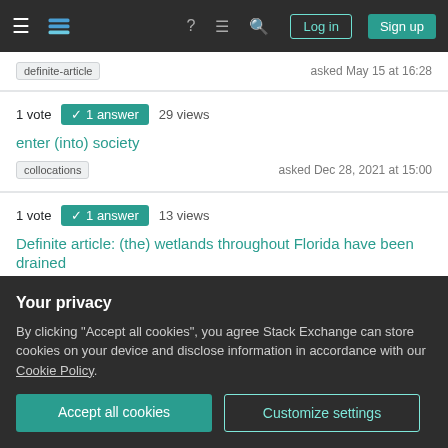Stack Exchange navigation bar with Log in and Sign up buttons
definite-article	asked May 15 at 16:28
1 vote  1 answer  29 views
enter (into) society
collocations	asked Dec 28, 2021 at 15:00
1 vote  1 answer  13 views
Definite article: (the) wetlands throughout Florida have been drained
Your privacy
By clicking "Accept all cookies", you agree Stack Exchange can store cookies on your device and disclose information in accordance with our Cookie Policy.
Accept all cookies
Customize settings